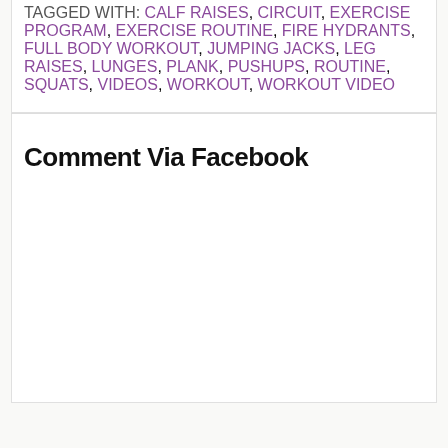TAGGED WITH: CALF RAISES, CIRCUIT, EXERCISE PROGRAM, EXERCISE ROUTINE, FIRE HYDRANTS, FULL BODY WORKOUT, JUMPING JACKS, LEG RAISES, LUNGES, PLANK, PUSHUPS, ROUTINE, SQUATS, VIDEOS, WORKOUT, WORKOUT VIDEO
Comment Via Facebook